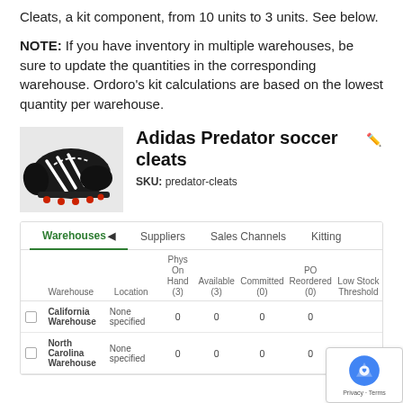Cleats, a kit component, from 10 units to 3 units. See below.
NOTE: If you have inventory in multiple warehouses, be sure to update the quantities in the corresponding warehouse. Ordoro's kit calculations are based on the lowest quantity per warehouse.
[Figure (photo): Photo of Adidas Predator soccer cleats - black cleats with red studs and white stripes]
Adidas Predator soccer cleats
SKU: predator-cleats
|  | Warehouse | Location | Phys On Hand (3) | Available (3) | Committed (0) | PO Reordered (0) | Low Stock Threshold |
| --- | --- | --- | --- | --- | --- | --- | --- |
| ☐ | California Warehouse | None specified | 0 | 0 | 0 | 0 |  |
| ☐ | North Carolina Warehouse | None specified | 0 | 0 | 0 | 0 |  |